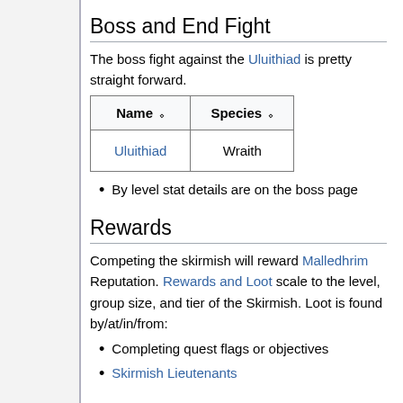Boss and End Fight
The boss fight against the Uluithiad is pretty straight forward.
| Name | Species |
| --- | --- |
| Uluithiad | Wraith |
By level stat details are on the boss page
Rewards
Competing the skirmish will reward Malledhrim Reputation. Rewards and Loot scale to the level, group size, and tier of the Skirmish. Loot is found by/at/in/from:
Completing quest flags or objectives
Skirmish Lieutenants